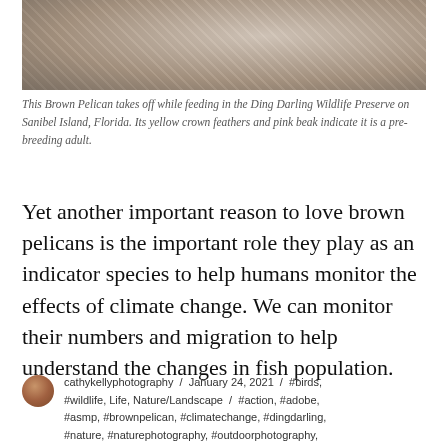[Figure (photo): Brown Pelican taking off while feeding in water, photographed at Ding Darling Wildlife Preserve on Sanibel Island, Florida.]
This Brown Pelican takes off while feeding in the Ding Darling Wildlife Preserve on Sanibel Island, Florida. Its yellow crown feathers and pink beak indicate it is a pre-breeding adult.
Yet another important reason to love brown pelicans is the important role they play as an indicator species to help humans monitor the effects of climate change. We can monitor their numbers and migration to help understand the changes in fish population.
cathykellyphotography / January 24, 2021 / #birds, #wildlife, Life, Nature/Landscape / #action, #adobe, #asmp, #brownpelican, #climatechange, #dingdarling, #nature, #naturephotography, #outdoorphotography,